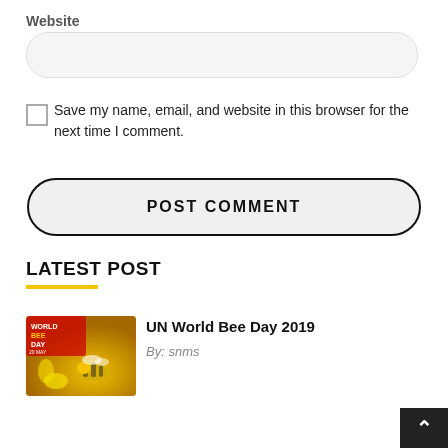Website
[Figure (screenshot): Empty rounded text input field for Website]
[Figure (screenshot): Unchecked checkbox]
Save my name, email, and website in this browser for the next time I comment.
POST COMMENT
LATEST POST
[Figure (photo): Thumbnail image showing a bee on a yellow flower with World Bee Day text overlay]
UN World Bee Day 2019
By: snms